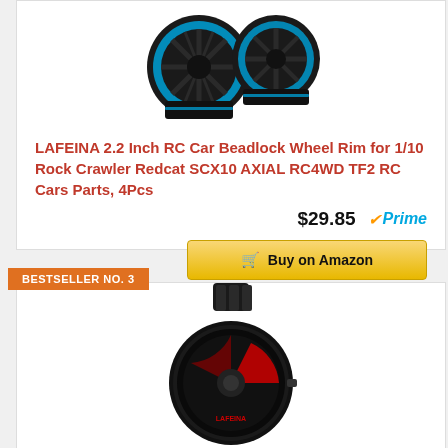[Figure (photo): Two black and blue RC car beadlock wheel rims on white background]
LAFEINA 2.2 Inch RC Car Beadlock Wheel Rim for 1/10 Rock Crawler Redcat SCX10 AXIAL RC4WD TF2 RC Cars Parts, 4Pcs
$29.85 Prime
Buy on Amazon
BESTSELLER NO. 3
[Figure (photo): Black sports watch with red wheel rim design on the watch face]